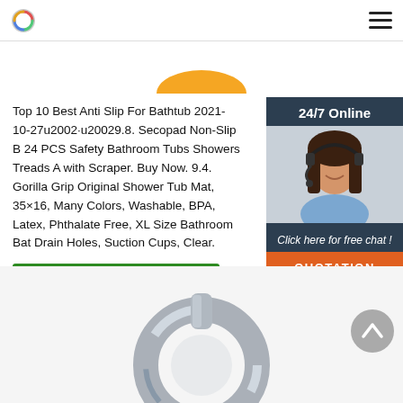Logo and navigation header
[Figure (illustration): Partial gold/orange rounded shape at top center, like a button or product cap]
Top 10 Best Anti Slip For Bathtub 2021-10-27u2002·u20029.8. Secopad Non-Slip B 24 PCS Safety Bathroom Tubs Showers Treads A with Scraper. Buy Now. 9.4. Gorilla Grip Original Shower Tub Mat, 35×16, Many Colors, Washable, BPA, Latex, Phthalate Free, XL Size Bathroom Bat Drain Holes, Suction Cups, Clear.
[Figure (photo): Sidebar with dark blue background showing a woman with a headset smiling, labeled 24/7 Online with Click here for free chat and QUOTATION button]
[Figure (photo): Bottom partial image of a metallic ring/eyebolt hardware item]
[Figure (illustration): Gray circular scroll-to-top button with upward chevron arrow]